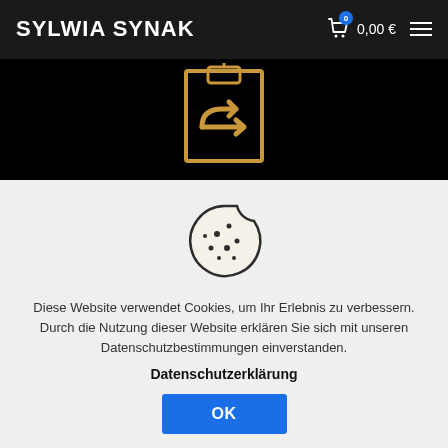SYLWIA SYNAK — 0,00 €
[Figure (illustration): Black background area with a gold-outlined square containing a return/undo arrow icon (arrow curving left) and a small clipboard or document icon above it, rendered in gold/amber color.]
[Figure (illustration): Cookie icon: a round cookie with a bite taken out of the upper right, with chocolate chip dots scattered across it, drawn in dark outline style on light grey background.]
Diese Website verwendet Cookies, um Ihr Erlebnis zu verbessern. Durch die Nutzung dieser Website erklären Sie sich mit unseren Datenschutzbestimmungen einverstanden.
Datenschutzerklärung
OK